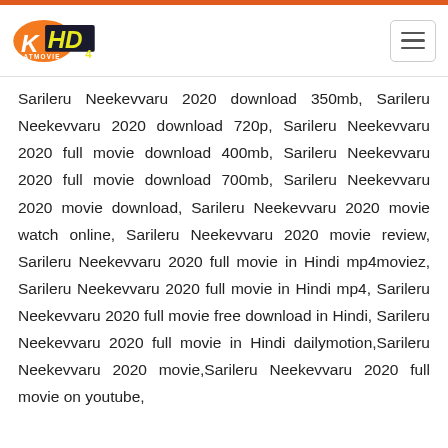KatMovie HD - Logo and navigation header
Sarileru Neekevvaru 2020 download 350mb, Sarileru Neekevvaru 2020 download 720p, Sarileru Neekevvaru 2020 full movie download 400mb, Sarileru Neekevvaru 2020 full movie download 700mb, Sarileru Neekevvaru 2020 movie download, Sarileru Neekevvaru 2020 movie watch online, Sarileru Neekevvaru 2020 movie review, Sarileru Neekevvaru 2020 full movie in Hindi mp4moviez, Sarileru Neekevvaru 2020 full movie in Hindi mp4, Sarileru Neekevvaru 2020 full movie free download in Hindi, Sarileru Neekevvaru 2020 full movie in Hindi dailymotion,Sarileru Neekevvaru 2020 movie,Sarileru Neekevvaru 2020 full movie on youtube,